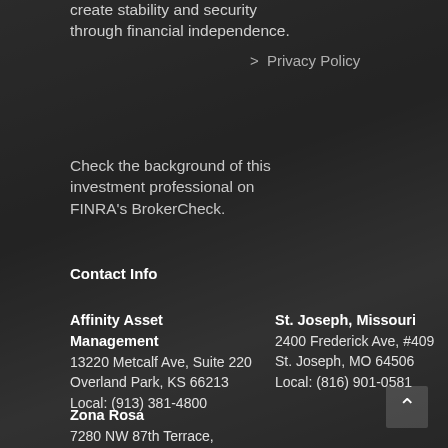create stability and security through financial independence.
> Privacy Policy
Check the background of this investment professional on FINRA's BrokerCheck.
Contact Info
Affinity Asset Management
13220 Metcalf Ave, Suite 220
Overland Park, KS 66213
Local: (913) 381-4800
St. Joseph, Missouri
2400 Frederick Ave, #409
St. Joseph, MO 64506
Local: (816) 901-0581
Zona Rosa
7280 NW 87th Terrace,
Suite 280